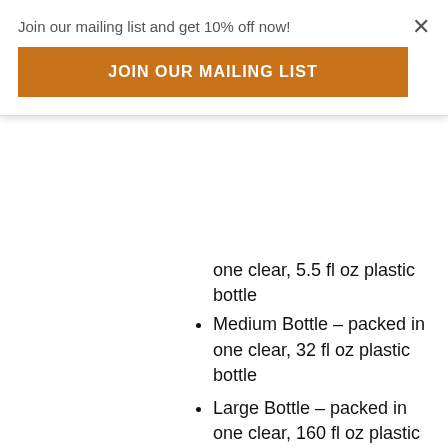Join our mailing list and get 10% off now!
JOIN OUR MAILING LIST
one clear, 5.5 fl oz plastic bottle
Medium Bottle – packed in one clear, 32 fl oz plastic bottle
Large Bottle – packed in one clear, 160 fl oz plastic bottle
Pail Pack – packed in one 4.25 gallon plastic pail
Learn more about packaging
[Figure (logo): GLUTEN- badge in green and a product icon illustration]